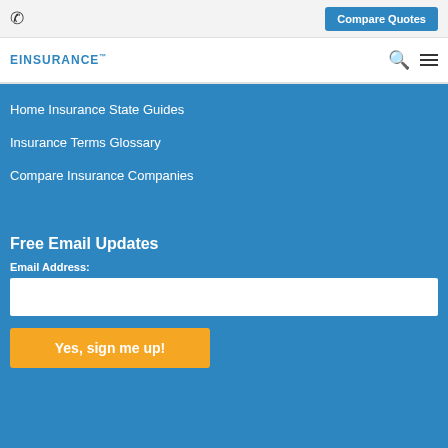Compare Quotes
EINSURANCE™
Home Insurance State Guides
Insurance Terms Glossary
Compare Insurance Companies
Free Email Updates
Email Address:
Yes, sign me up!